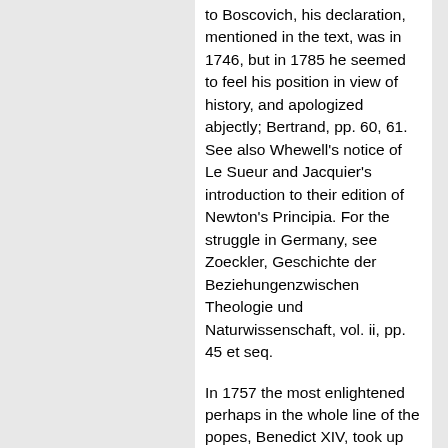to Boscovich, his declaration, mentioned in the text, was in 1746, but in 1785 he seemed to feel his position in view of history, and apologized abjectly; Bertrand, pp. 60, 61. See also Whewell's notice of Le Sueur and Jacquier's introduction to their edition of Newton's Principia. For the struggle in Germany, see Zoeckler, Geschichte der Beziehungenzwischen Theologie und Naturwissenschaft, vol. ii, pp. 45 et seq.
In 1757 the most enlightened perhaps in the whole line of the popes, Benedict XIV, took up the matter, and the Congregation of the Index secretly allowed the ideas of Copernicus to be tolerated. Yet in 1765 Lalande, the great French astronomer, tried in vain at Rome to induce the authorities to